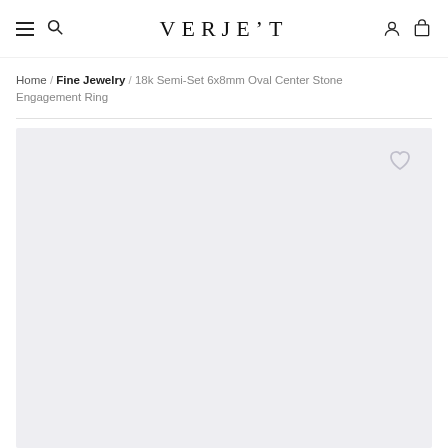VERJET — navigation header with menu, search, account, and cart icons
Home / Fine Jewelry / 18k Semi-Set 6x8mm Oval Center Stone Engagement Ring
[Figure (other): Product image area — light gray/lavender placeholder background with a heart (wishlist) icon in the upper right corner. The product image has not loaded.]